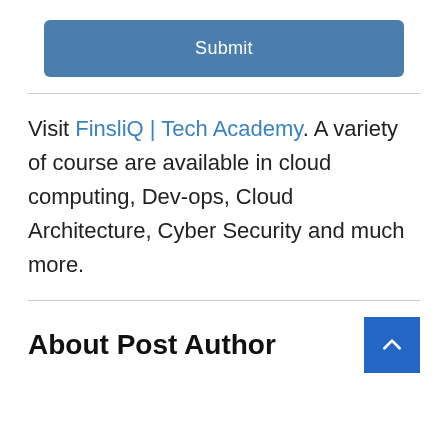[Figure (other): Blue rounded Submit button]
Visit FinsliQ | Tech Academy. A variety of course are available in cloud computing, DevOps, Cloud Architecture, Cyber Security and much more.
About Post Author